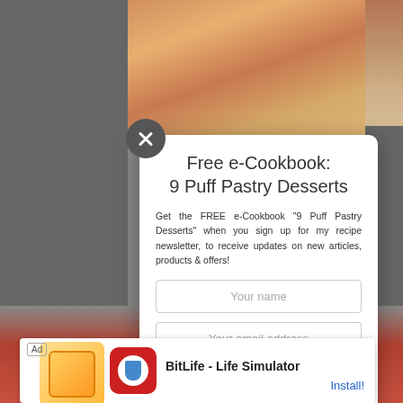[Figure (screenshot): Website screenshot showing a modal popup overlay on a cooking/recipe website. The background shows a blurred image with people at the top and food at the bottom. The foreground has a white modal dialog with an email subscription offer for a free e-cookbook.]
Free e-Cookbook:
9 Puff Pastry Desserts
Get the FREE e-Cookbook "9 Puff Pastry Desserts" when you sign up for my recipe newsletter, to receive updates on new articles, products & offers!
[Figure (screenshot): Ad banner at bottom: BitLife - Life Simulator game advertisement with Install button]